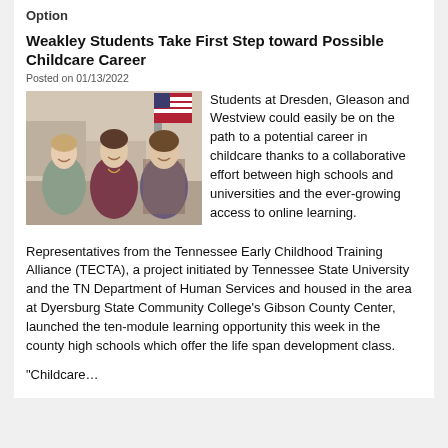Option
Weakley Students Take First Step toward Possible Childcare Career
Posted on 01/13/2022
[Figure (photo): Three women standing together indoors, smiling at the camera, with an American flag visible in the background.]
Students at Dresden, Gleason and Westview could easily be on the path to a potential career in childcare thanks to a collaborative effort between high schools and universities and the ever-growing access to online learning.
Representatives from the Tennessee Early Childhood Training Alliance (TECTA), a project initiated by Tennessee State University and the TN Department of Human Services and housed in the area at Dyersburg State Community College's Gibson County Center, launched the ten-module learning opportunity this week in the county high schools which offer the life span development class.
“Childcare…